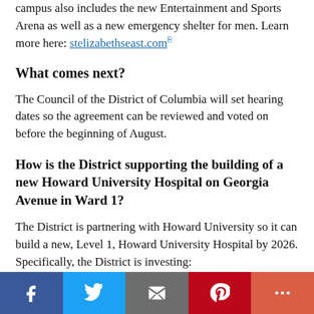campus also includes the new Entertainment and Sports Arena as well as a new emergency shelter for men. Learn more here: stelizabethseast.com
What comes next?
The Council of the District of Columbia will set hearing dates so the agreement can be reviewed and voted on before the beginning of August.
How is the District supporting the building of a new Howard University Hospital on Georgia Avenue in Ward 1?
The District is partnering with Howard University so it can build a new, Level 1, Howard University Hospital by 2026. Specifically, the District is investing: